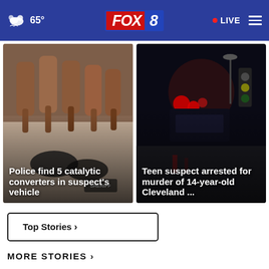65° FOX 8 • LIVE
[Figure (photo): Photo of 5 catalytic converters laid on a surface with gloves, police evidence photo]
Police find 5 catalytic converters in suspect's vehicle
[Figure (photo): Night-time police car lights at an intersection in Cleveland]
Teen suspect arrested for murder of 14-year-old Cleveland ...
Top Stories ›
MORE STORIES ›